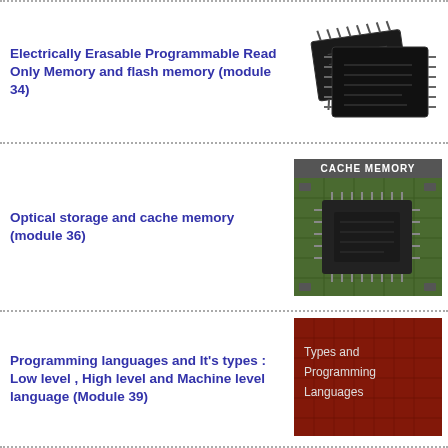Electrically Erasable Programmable Read Only Memory and flash memory (module 34)
[Figure (photo): Two black IC/microchip packages (EEPROM/flash memory chips)]
Optical storage and cache memory (module 36)
[Figure (photo): Cache Memory label banner over a green circuit board with a microchip]
Programming languages and It's types : Low level , High level and Machine level language (Module 39)
[Figure (photo): Red background image with text: Types and Programming Languages]